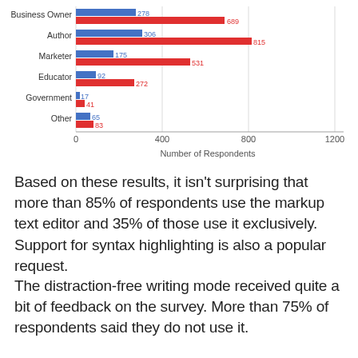[Figure (grouped-bar-chart): ]
Based on these results, it isn't surprising that more than 85% of respondents use the markup text editor and 35% of those use it exclusively. Support for syntax highlighting is also a popular request.
The distraction-free writing mode received quite a bit of feedback on the survey. More than 75% of respondents said they do not use it.